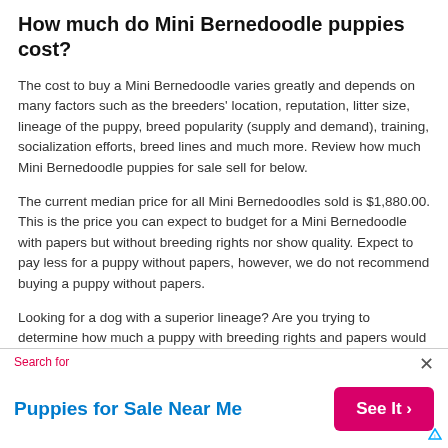How much do Mini Bernedoodle puppies cost?
The cost to buy a Mini Bernedoodle varies greatly and depends on many factors such as the breeders' location, reputation, litter size, lineage of the puppy, breed popularity (supply and demand), training, socialization efforts, breed lines and much more. Review how much Mini Bernedoodle puppies for sale sell for below.
The current median price for all Mini Bernedoodles sold is $1,880.00. This is the price you can expect to budget for a Mini Bernedoodle with papers but without breeding rights nor show quality. Expect to pay less for a puppy without papers, however, we do not recommend buying a puppy without papers.
Looking for a dog with a superior lineage? Are you trying to determine how much a puppy with breeding rights and papers would cost? You should expect to pay a premium for a puppy with breeding rights or even for a puppy advertised as show quality...
Search for
Puppies for Sale Near Me